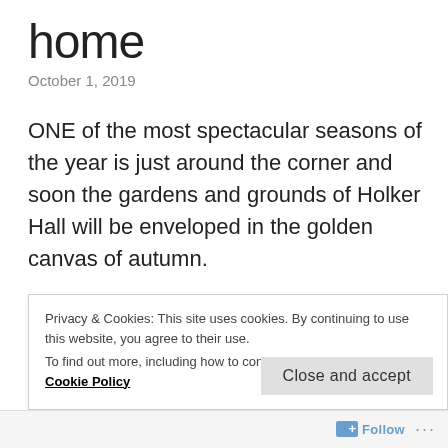home
October 1, 2019
ONE of the most spectacular seasons of the year is just around the corner and soon the gardens and grounds of Holker Hall will be enveloped in the golden canvas of autumn.
Now, visitors can soak up the glorious colour surrounding the Grade II-listed home with a
Privacy & Cookies: This site uses cookies. By continuing to use this website, you agree to their use.
To find out more, including how to control cookies, see here: Cookie Policy
Close and accept
Follow